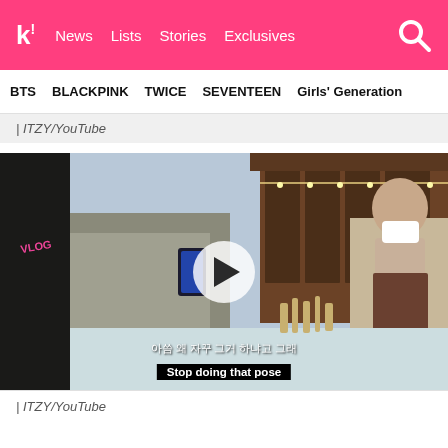k! News  Lists  Stories  Exclusives
BTS  BLACKPINK  TWICE  SEVENTEEN  Girls' Generation
| ITZY/YouTube
[Figure (screenshot): Video thumbnail showing two people outdoors near a traditional wooden building. One person in a grey coat is photographing the other who wears a mask and beige coat. A play button overlay is visible. Korean subtitle reads the equivalent of 'Stop doing that pose' with English subtitle 'Stop doing that pose' displayed below.]
| ITZY/YouTube